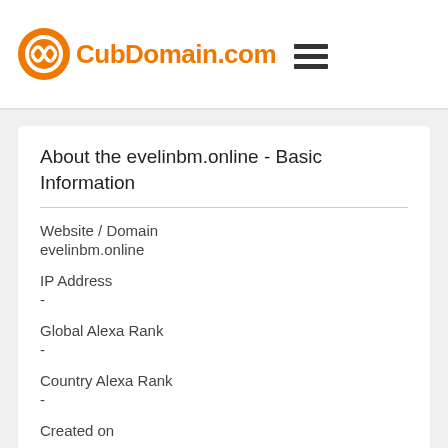CubDomain.com
About the evelinbm.online - Basic Information
Website / Domain
evelinbm.online
IP Address
-
Global Alexa Rank
-
Country Alexa Rank
-
Created on
-